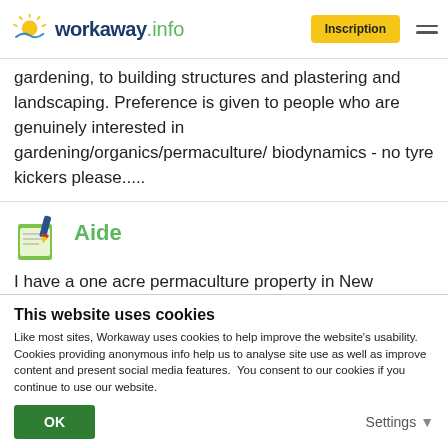workaway.info | Inscription
gardening, to building structures and plastering and landscaping. Preference is given to people who are genuinely interested in gardening/organics/permaculture/ biodynamics - no tyre kickers please.....
Aide
I have a one acre permaculture property in New Plymouth and need help with gardening - mulching, composting, harvesting, pruning etc. Hard landscaping...
This website uses cookies
Like most sites, Workaway uses cookies to help improve the website's usability. Cookies providing anonymous info help us to analyse site use as well as improve content and present social media features. You consent to our cookies if you continue to use our website.